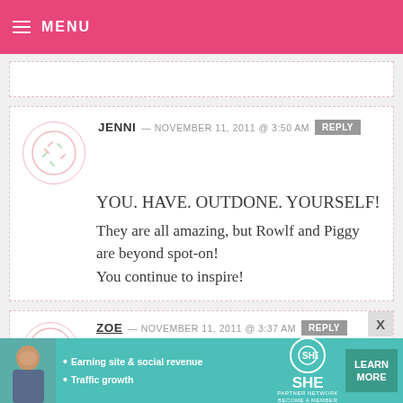MENU
YOU. HAVE. OUTDONE. YOURSELF! They are all amazing, but Rowlf and Piggy are beyond spot-on! You continue to inspire!
JENNI — NOVEMBER 11, 2011 @ 3:50 AM REPLY
ZOE — NOVEMBER 11, 2011 @ 3:37 AM REPLY
[Figure (infographic): SHE Partner Network advertisement banner with photo of woman, bullet points about earning site & social revenue and traffic growth, SHE logo, and Learn More button]